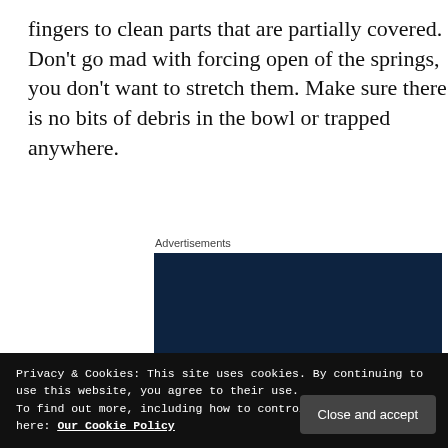fingers to clean parts that are partially covered. Don't go mad with forcing open of the springs, you don't want to stretch them. Make sure there is no bits of debris in the bowl or trapped anywhere.
Advertisements
[Figure (other): WordPress 'Built By' advertisement with dark navy background. Shows 'Built By' text with WordPress logo, tagline 'Your site. Built by us. Built for you.', a 'Get a quote now' button, and a mockup of a website with a fashion photo.]
Privacy & Cookies: This site uses cookies. By continuing to use this website, you agree to their use.
To find out more, including how to control cookies, see here: Our Cookie Policy
Close and accept